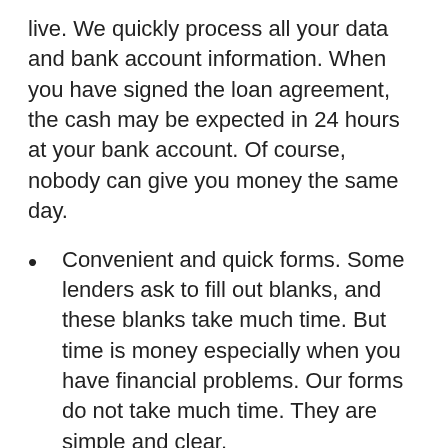live. We quickly process all your data and bank account information. When you have signed the loan agreement, the cash may be expected in 24 hours at your bank account. Of course, nobody can give you money the same day.
Convenient and quick forms. Some lenders ask to fill out blanks, and these blanks take much time. But time is money especially when you have financial problems. Our forms do not take much time. They are simple and clear.
The loan to go. If you still do not know where to get the quick loan, you should go to the internet. Online payday loans are very convenient and take minimum efforts. Use your smartphone, apply for online loan in Long Island Virginia. We will transfer